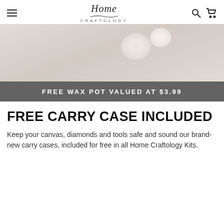Home Craftology
[Figure (photo): Product photo with light beige/neutral background showing rounded shapes, with a dark gray banner overlay reading FREE WAX POT VALUED AT $3.99]
FREE CARRY CASE INCLUDED
Keep your canvas, diamonds and tools safe and sound our brand-new carry cases, included for free in all Home Craftology Kits.